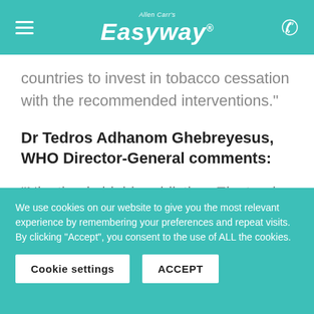Allen Carr's Easyway
countries to invest in tobacco cessation with the recommended interventions."
Dr Tedros Adhanom Ghebreyesus, WHO Director-General comments:
“Nicotine is highly addictive. Electronic
We use cookies on our website to give you the most relevant experience by remembering your preferences and repeat visits. By clicking "Accept", you consent to the use of ALL the cookies.